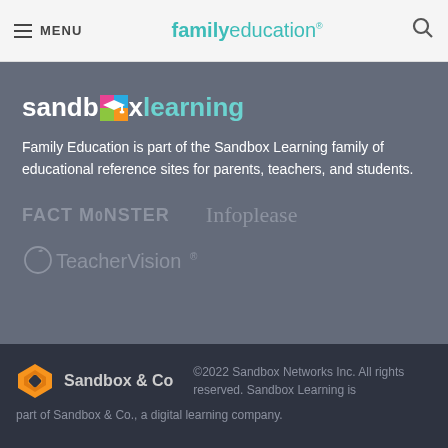MENU | familyeducation
[Figure (logo): Sandbox Learning logo with colorful graduation cap icon replacing the 'o' in sandbox, with 'learning' in teal]
Family Education is part of the Sandbox Learning family of educational reference sites for parents, teachers, and students.
[Figure (logo): FACT MONSTER logo in muted gray uppercase text]
[Figure (logo): Infoplease logo in muted gray serif text]
[Figure (logo): TeacherVision logo with apple icon in muted gray]
[Figure (logo): Sandbox & Co logo — orange diamond hexagon icon with 'Sandbox & Co' text]
©2022 Sandbox Networks Inc. All rights reserved. Sandbox Learning is part of Sandbox & Co., a digital learning company.